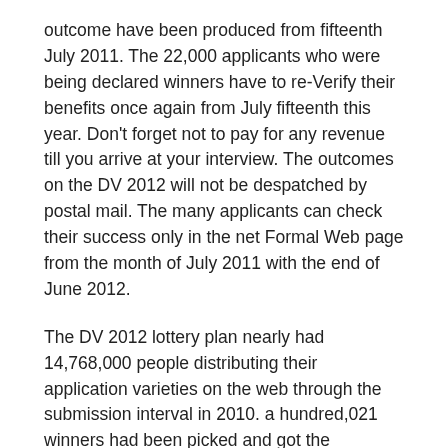outcome have been produced from fifteenth July 2011. The 22,000 applicants who were being declared winners have to re-Verify their benefits once again from July fifteenth this year. Don't forget not to pay for any revenue till you arrive at your interview. The outcomes on the DV 2012 will not be despatched by postal mail. The many applicants can check their success only in the net Formal Web page from the month of July 2011 with the end of June 2012.
The DV 2012 lottery plan nearly had 14,768,000 people distributing their application varieties on the web through the submission interval in 2010. a hundred,021 winners had been picked and got the opportunity to get one of the obtainable 50,000 US immigrant visas via the program. It's important to understand that the Kentucky Consular Centre (KCC) employs the sole the net check facility to examine the effects.